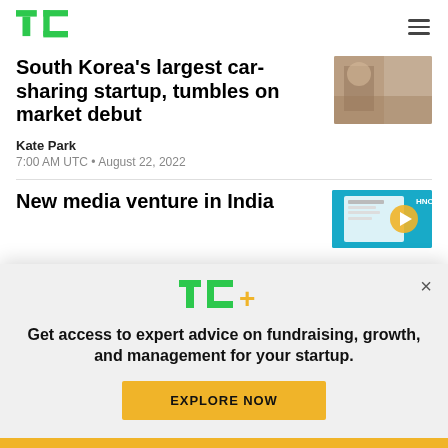TechCrunch header with TC logo and hamburger menu
South Korea’s largest car-sharing startup, tumbles on market debut
Kate Park
7:00 AM UTC • August 22, 2022
[Figure (photo): Photo of person in a cafe or car-sharing related scene]
New media venture in India
[Figure (illustration): Teal/cyan illustration of a newspaper or media graphic]
[Figure (logo): TC+ logo with green TC letters and yellow plus sign]
Get access to expert advice on fundraising, growth, and management for your startup.
EXPLORE NOW